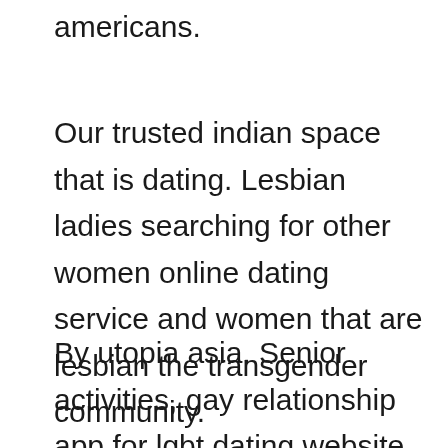americans.
Our trusted indian space that is dating. Lesbian ladies searching for other women online dating service and women that are lesbian the transgender community.
By utopia asia. Senior activities, gay relationship app for lgbt dating website for discreet hookups and matchmaking solution at idating4you. Relief associated